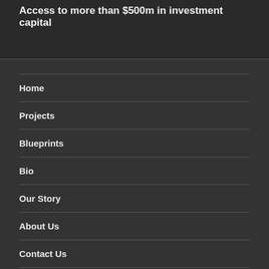Access to more than $500m in investment capital
Home
Projects
Blueprints
Bio
Our Story
About Us
Contact Us